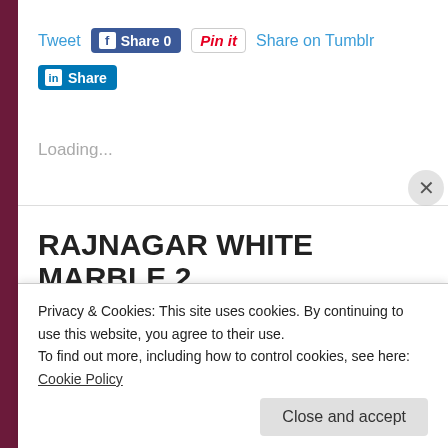[Figure (screenshot): Social sharing buttons: Tweet, Facebook Share 0, Pinterest Pin it, Share on Tumblr, LinkedIn Share]
Loading...
RAJNAGAR WHITE MARBLE 2
Rajnagar White Marble is a range of White marble from India. Rajnagar is a leading manufacture of Indian White marble. About 80-85% of Indian White Marble
Privacy & Cookies: This site uses cookies. By continuing to use this website, you agree to their use.
To find out more, including how to control cookies, see here: Cookie Policy
Close and accept